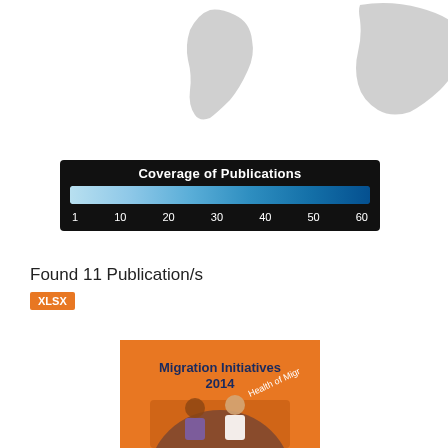[Figure (map): World map showing greyed-out continents (partial view: South America, Africa/Middle East, Australia) on white background]
[Figure (infographic): Legend box with black background titled 'Coverage of Publications' showing a gradient from light blue (1) to dark blue (60) with tick labels 1, 10, 20, 30, 40, 50, 60]
Found 11 Publication/s
XLSX
[Figure (photo): Book cover for 'Migration Initiatives 2014 Health of Migrants' on orange background with photo of two people]